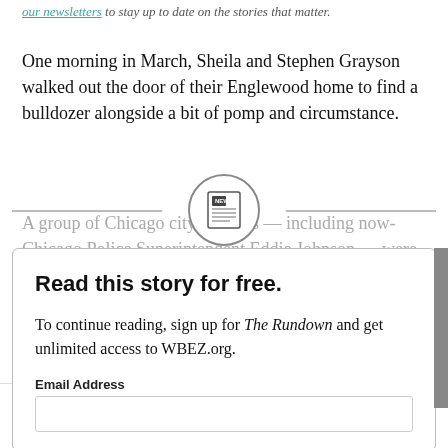our newsletters to stay up to date on the stories that matter.
One morning in March, Sheila and Stephen Grayson walked out the door of their Englewood home to find a bulldozer alongside a bit of pomp and circumstance.
A group of Chicago city officials — including now-Chicago Police Superintendent Eddie Johnson — were just down the block. And out came an official City of Chicago podium with microphones jutting out the top.
[Figure (illustration): Newspaper icon inside a circle, used as paywall decoration]
Read this story for free.
To continue reading, sign up for The Rundown and get unlimited access to WBEZ.org.
Email Address
Home | LIVE | Search | Menu